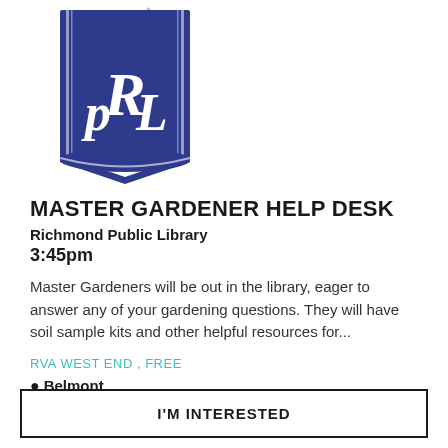[Figure (logo): Richmond Public Library logo — dark blue bookmark/pennant shape with 'RPL' monogram in white and small white stars at top]
MASTER GARDENER HELP DESK
Richmond Public Library
3:45pm
Master Gardeners will be out in the library, eager to answer any of your gardening questions. They will have soil sample kits and other helpful resources for...
RVA WEST END , FREE
Belmont
I'M INTERESTED